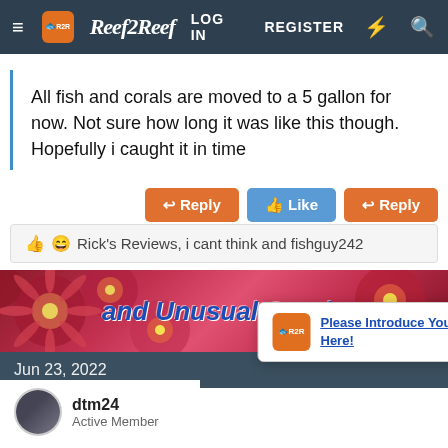Reef2Reef — LOG IN  REGISTER
All fish and corals are moved to a 5 gallon for now. Not sure how long it was like this though. Hopefully i caught it in time
Reply  Like  Reply
Rick's Reviews, i cant think and fishguy242
[Figure (photo): Banner image of pink/red coral flowers with text 'and Unusual Corals']
Jun 23, 2022
dtm24
Active Member
Please Introduce Yourself Here!